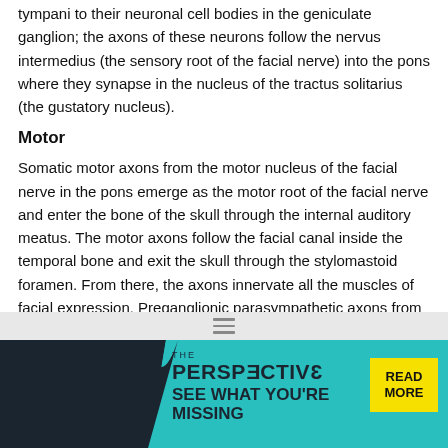tympani to their neuronal cell bodies in the geniculate ganglion; the axons of these neurons follow the nervus intermedius (the sensory root of the facial nerve) into the pons where they synapse in the nucleus of the tractus solitarius (the gustatory nucleus).
Motor
Somatic motor axons from the motor nucleus of the facial nerve in the pons emerge as the motor root of the facial nerve and enter the bone of the skull through the internal auditory meatus. The motor axons follow the facial canal inside the temporal bone and exit the skull through the stylomastoid foramen. From there, the axons innervate all the muscles of facial expression. Preganglionic parasympathetic axons from the superior salivatory nucleus take the nervus intermedius to the region of the geniculate ganglion inside the facial canal. From there, some of the axons join the chorda tympani and later reach the submandibular ganglion by following the lingual nerve. Other preganglionic parasympathetic axons follow the major superficial petrosal nerve and the vidian nerve to reach the pterygopalatine ganglion.
Synonym: seventh cranial nerve See: illustration; cranial nerve
[Figure (screenshot): Advertisement banner at the bottom: 'THE PERSPECTIVE - SEE WHAT YOU'RE MISSING' with teal background and a READ MORE button in yellow, on dark background.]